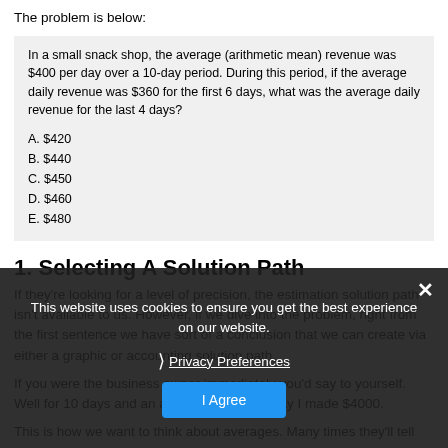The problem is below:
In a small snack shop, the average (arithmetic mean) revenue was $400 per day over a 10-day period. During this period, if the average daily revenue was $360 for the first 6 days, what was the average daily revenue for the last 4 days?
A. $420
B. $440
C. $450
D. $460
E. $480
1. Selecting A Solution Path
If they're looking for a level of precision, the estimation solution path isn't available to us. However, if we dive into the problem, right from the first sentence we have sort of a conclusion that we can create via either a graphic or accounting solution path.
If you were the business owner immediately you'd say to yourself. Well for 10 days and an average of $400 a day I made $4000.
This is how we want to think about averages. Many times they'll tell